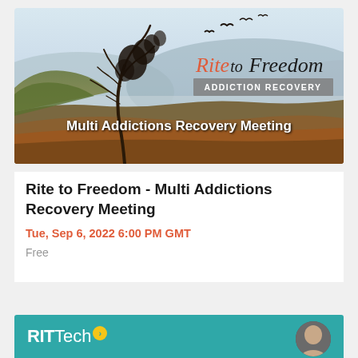[Figure (illustration): Rite to Freedom Addiction Recovery banner image. Landscape background with hills and misty valley. A bare tree with birds flying off to the right. Text reads 'Rite to Freedom' in red/coral and black, 'ADDICTION RECOVERY' in a grey box, and 'Multi Addictions Recovery Meeting' in white bold text at the bottom.]
Rite to Freedom - Multi Addictions Recovery Meeting
Tue, Sep 6, 2022 6:00 PM GMT
Free
[Figure (logo): RIT Tech logo on teal background with a yellow circular badge with arrow, and a partial circular avatar photo of a person on the right.]